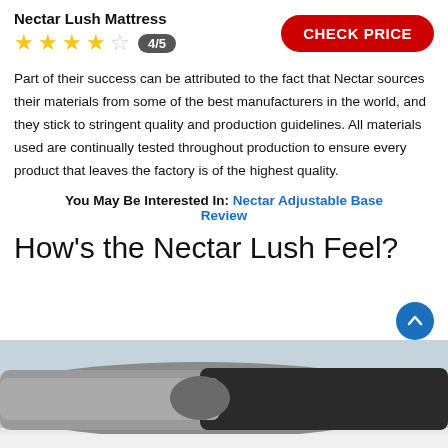Nectar Lush Mattress
★★★★☆ 4/5
CHECK PRICE
Part of their success can be attributed to the fact that Nectar sources their materials from some of the best manufacturers in the world, and they stick to stringent quality and production guidelines. All materials used are continually tested throughout production to ensure every product that leaves the factory is of the highest quality.
You May Be Interested In: Nectar Adjustable Base Review
How's the Nectar Lush Feel?
[Figure (photo): Photo showing a person lying on a mattress, viewed from behind/side, wearing grey top and black pants.]